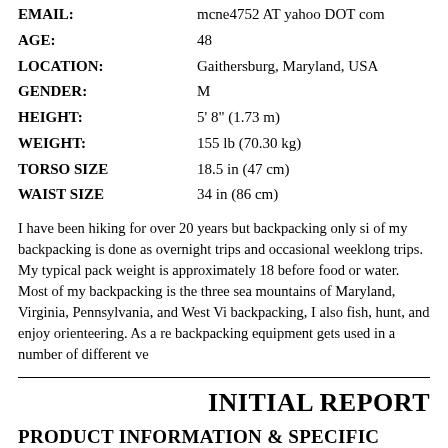| EMAIL: | mcne4752 AT yahoo DOT com |
| AGE: | 48 |
| LOCATION: | Gaithersburg, Maryland, USA |
| GENDER: | M |
| HEIGHT: | 5' 8" (1.73 m) |
| WEIGHT: | 155 lb (70.30 kg) |
| TORSO SIZE | 18.5 in (47 cm) |
| WAIST SIZE | 34 in (86 cm) |
I have been hiking for over 20 years but backpacking only si... of my backpacking is done as overnight trips and occasional weeklong trips. My typical pack weight is approximately 18 before food or water. Most of my backpacking is the three sea mountains of Maryland, Virginia, Pennsylvania, and West Vi... backpacking, I also fish, hunt, and enjoy orienteering. As a re... backpacking equipment gets used in a number of different ve...
INITIAL REPORT
PRODUCT INFORMATION & SPECIFIC...